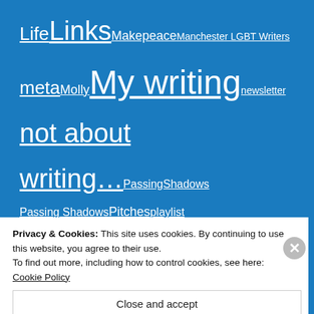[Figure (infographic): Tag cloud on blue background with various blog category links in different font sizes, including Life, Links, Makepeace, Manchester LGBT Writers, meta, Molly, My writing, newsletter, not about writing..., PassingShadows, Passing Shadows, Pitches, playlist, PridePromotions, Publication Day, publishers, Queer Town Abbey, reviews, Self publishing., Shield, steampunk coffee shops, tiara, UK GLBTQ meet, writing, writing project, Writing projects]
Privacy & Cookies: This site uses cookies. By continuing to use this website, you agree to their use.
To find out more, including how to control cookies, see here: Cookie Policy
Close and accept